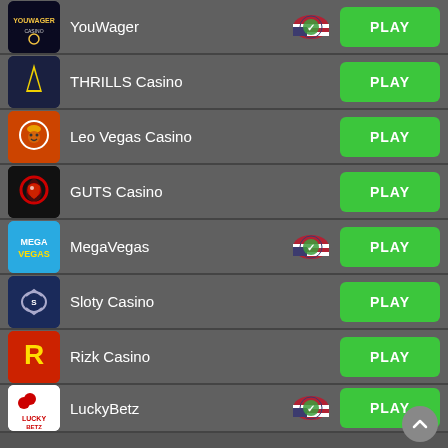YouWager - PLAY
THRILLS Casino - PLAY
Leo Vegas Casino - PLAY
GUTS Casino - PLAY
MegaVegas - PLAY
Sloty Casino - PLAY
Rizk Casino - PLAY
LuckyBetz - PLAY